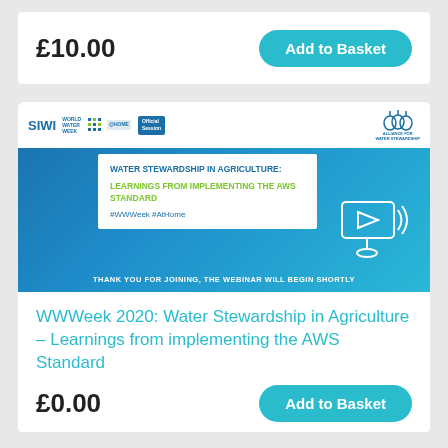£10.00
Add to Basket
[Figure (screenshot): Webinar title slide with blue gradient background. SIWI World Water Week Official Session logo at top left, Alliance for Water Stewardship logo at top right. White box in center showing: 'WATER STEWARDSHIP IN AGRICULTURE: LEARNINGS FROM IMPLEMENTING THE AWS STANDARD #WWWeek #AtHome'. Play button icon bottom right. Bottom text: 'THANK YOU FOR JOINING, THE WEBINAR WILL BEGIN SHORTLY']
WWWeek 2020: Water Stewardship in Agriculture – Learnings from implementing the AWS Standard
£0.00
Add to Basket